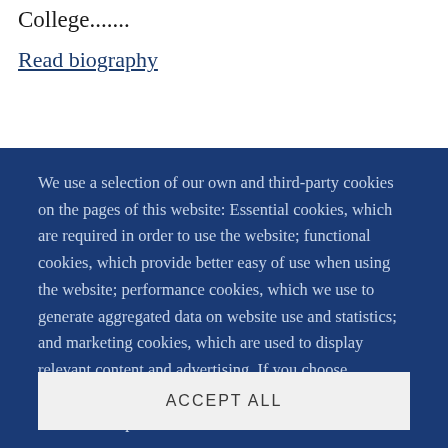College........
Read biography
We use a selection of our own and third-party cookies on the pages of this website: Essential cookies, which are required in order to use the website; functional cookies, which provide better easy of use when using the website; performance cookies, which we use to generate aggregated data on website use and statistics; and marketing cookies, which are used to display relevant content and advertising. If you choose "ACCEPT ALL", you consent to the use of all cookies. You can accept and
ACCEPT ALL